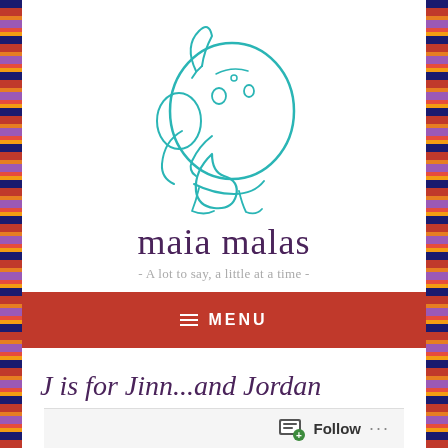[Figure (logo): Teal line-art illustration of Ganesha (elephant deity) curled in a circular form, drawn in a minimalist style]
maia malas
- A lot to say, a little at a time -
MENU
J is for Jinn...and Jordan
Follow ...